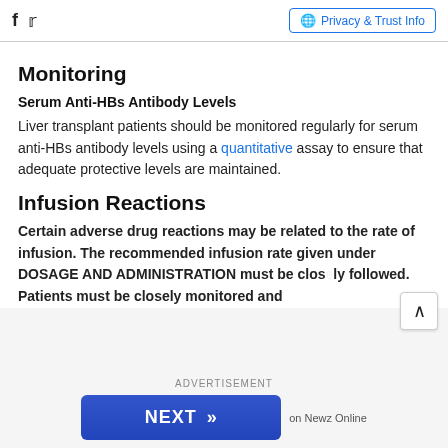Facebook Twitter | Privacy & Trust Info
Monitoring
Serum Anti-HBs Antibody Levels
Liver transplant patients should be monitored regularly for serum anti-HBs antibody levels using a quantitative assay to ensure that adequate protective levels are maintained.
Infusion Reactions
Certain adverse drug reactions may be related to the rate of infusion. The recommended infusion rate given under DOSAGE AND ADMINISTRATION must be closely followed. Patients must be closely monitored and
ADVERTISEMENT NEXT >> on Newz Online